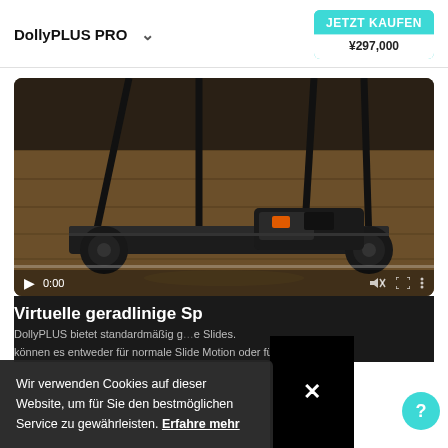DollyPLUS PRO
JETZT KAUFEN ¥297,000
[Figure (screenshot): Video thumbnail showing a DollyPLUS PRO camera dolly on a wooden floor. Video controls show 0:00 timestamp with play button, mute, fullscreen, and menu icons.]
Wir verwenden Cookies auf dieser Website, um für Sie den bestmöglichen Service zu gewährleisten. Erfahre mehr
Virtuelle geradlinige Sp
DollyPLUS bietet standardmäßig g... e Slides.
können es entweder für normale Slide Motion oder für